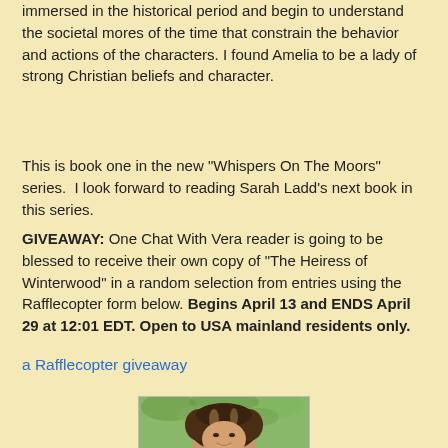immersed in the historical period and begin to understand the societal mores of the time that constrain the behavior and actions of the characters. I found Amelia to be a lady of strong Christian beliefs and character.
This is book one in the new "Whispers On The Moors" series.  I look forward to reading Sarah Ladd's next book in this series.
GIVEAWAY: One Chat With Vera reader is going to be blessed to receive their own copy of "The Heiress of Winterwood" in a random selection from entries using the Rafflecopter form below. Begins April 13 and ENDS April 29 at 12:01 EDT. Open to USA mainland residents only.
a Rafflecopter giveaway
[Figure (photo): Photo of a smiling woman with curly dark hair with highlights, green leafy background]